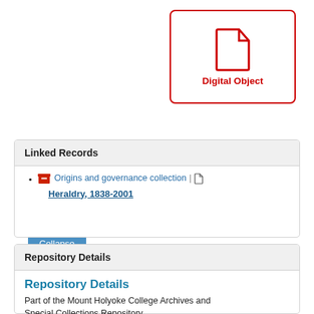[Figure (illustration): Digital Object icon: a document/file icon in red outline inside a red-bordered rounded rectangle with label 'Digital Object' in bold red text below it]
Collapse All
Linked Records
Origins and governance collection | [document icon] Heraldry, 1838-2001
Repository Details
Repository Details
Part of the Mount Holyoke College Archives and Special Collections Repository